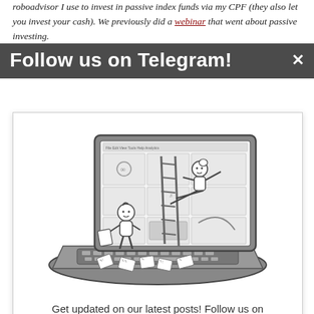roboadvisor I use to invest in passive index funds via my CPF (they also let you invest your cash). We previously did a webinar that went about passive investing.
Follow us on Telegram!
[Figure (illustration): Cartoon illustration of two stylized figures working on a large open laptop. One figure stands on the keyboard holding papers, another climbs a ladder leaning against the screen which displays a webpage layout. Papers are scattered on the keyboard.]
Get updated on our latest posts! Follow us on Telegram at t.me/thewokesalaryman